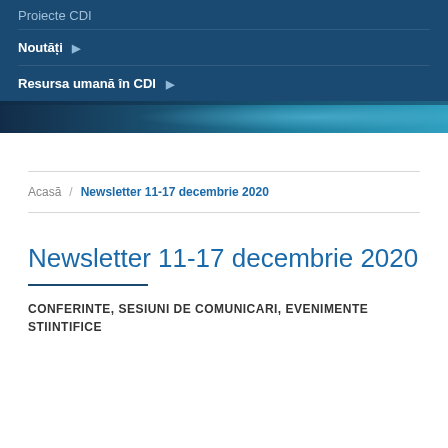Proiecte CDI
Noutăți
Resursa umană în CDI
Acasă / Newsletter 11-17 decembrie 2020
Newsletter 11-17 decembrie 2020
CONFERINTE, SESIUNI DE COMUNICARI, EVENIMENTE STIINTIFICE